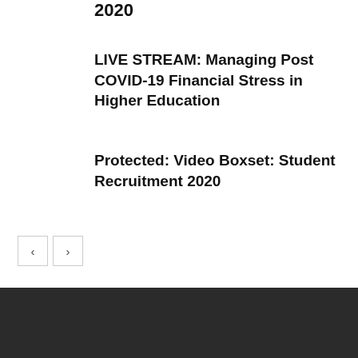2020
LIVE STREAM: Managing Post COVID-19 Financial Stress in Higher Education
Protected: Video Boxset: Student Recruitment 2020
[Figure (other): Navigation previous/next arrow buttons]